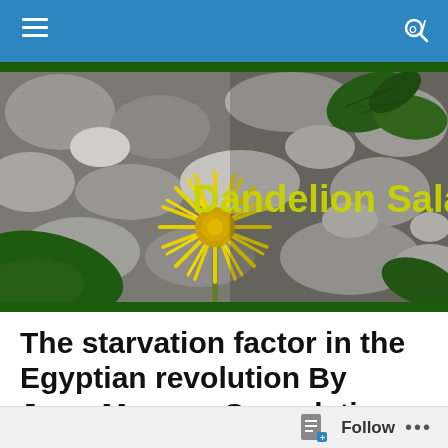Dandelion Salad
[Figure (photo): Banner photo showing a yellow dandelion flower among gray stones with green leaves, with 'Dandelion Salad' text overlay in yellow-green]
The starvation factor in the Egyptian revolution By Jerry Mazza + Speculation And The Frenzy In Food Markets
Posted by dandelionsalad